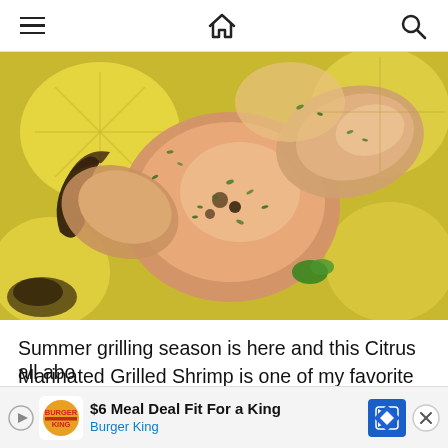Navigation bar with hamburger menu, home icon, and search icon
[Figure (photo): Close-up photo of citrus marinated grilled shrimp with herbs and lemon]
Summer grilling season is here and this Citrus Marinated Grilled Shrimp is one of my favorite grilled shrimp recipes! After those grilled chicken teriyaki and pineap... ow I'... all abo... ...hs...
[Figure (other): Burger King advertisement banner: $6 Meal Deal Fit For a King, Burger King]